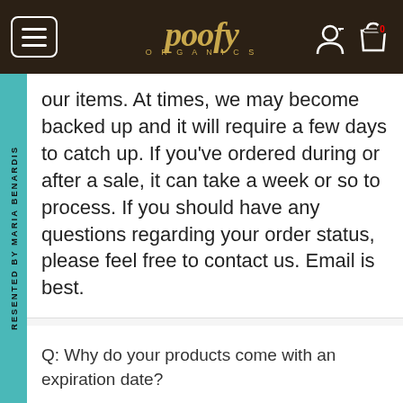poofy ORGANICS
our items. At times, we may become backed up and it will require a few days to catch up. If you've ordered during or after a sale, it can take a week or so to process. If you should have any questions regarding your order status, please feel free to contact us. Email is best.
Q: Why do your products come with an expiration date?